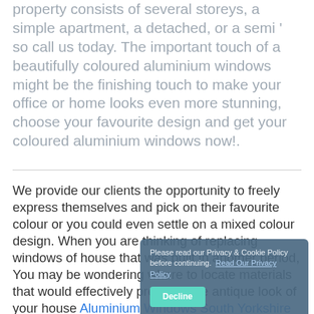property consists of several storeys, a simple apartment, a detached, or a semi ' so call us today. The important touch of a beautifully coloured aluminium windows might be the finishing touch to make your office or home looks even more stunning, choose your favourite design and get your coloured aluminium windows now!.
We provide our clients the opportunity to freely express themselves and pick on their favourite colour or you could even settle on a mixed colour design. When you are thinking of replacing windows of house that was built in another period, You may be wondering where to locate materials that would effectively preserve the antique look of your house Aluminium Windows South Yorkshire is now bringing to you a special range of coloured aluminium windows that are purpose made